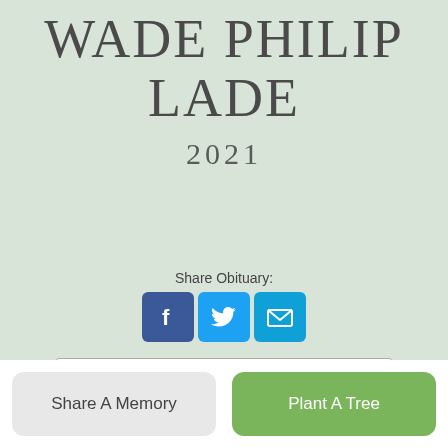WADE PHILIP LADE 2021
Share Obituary:
[Figure (other): Social share buttons: Facebook, Twitter, Email]
Obituary
Share A Memory
Plant A Tree